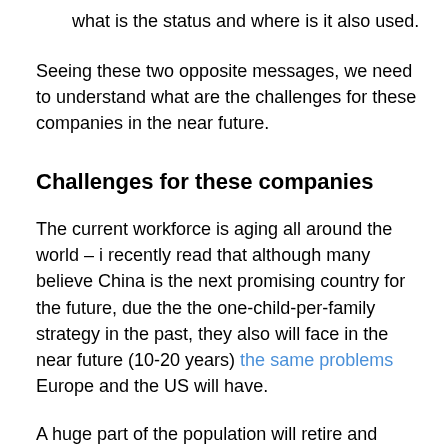what is the status and where is it also used.
Seeing these two opposite messages, we need to understand what are the challenges for these companies in the near future.
Challenges for these companies
The current workforce is aging all around the world – i recently read that although many believe China is the next promising country for the future, due the the one-child-per-family strategy in the past, they also will face in the near future (10-20 years) the same problems Europe and the US will have.
A huge part of the population will retire and especially in Europe and the US with this retirement a lot of real